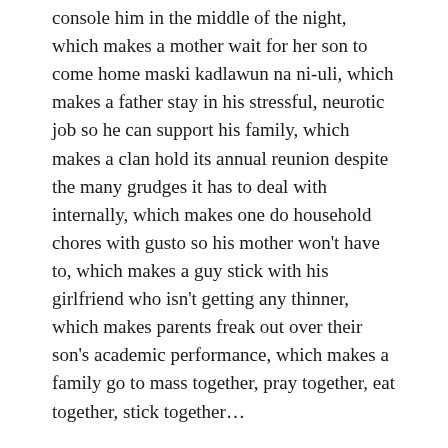console him in the middle of the night, which makes a mother wait for her son to come home maski kadlawun na ni-uli, which makes a father stay in his stressful, neurotic job so he can support his family, which makes a clan hold its annual reunion despite the many grudges it has to deal with internally, which makes one do household chores with gusto so his mother won't have to, which makes a guy stick with his girlfriend who isn't getting any thinner, which makes parents freak out over their son's academic performance, which makes a family go to mass together, pray together, eat together, stick together…
If you believe in love and its power to make all these miracles happen, then I daresay you still believe in God. Because God is love.
These are just my reflections. These aren't original